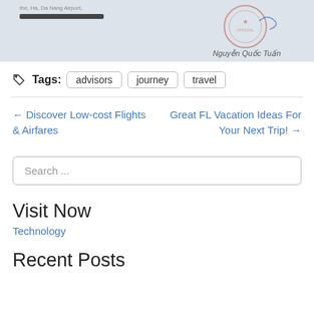[Figure (photo): Cropped bottom of a document image showing a red official stamp and signature with the name 'Nguyễn Quốc Tuấn']
Tags: advisors journey travel
← Discover Low-cost Flights & Airfares
Great FL Vacation Ideas For Your Next Trip! →
Search ...
Visit Now
Technology
Recent Posts